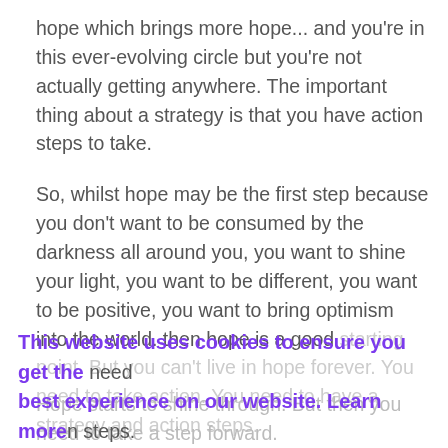hope which brings more hope... and you're in this ever-evolving circle but you're not actually getting anywhere. The important thing about a strategy is that you have action steps to take.
So, whilst hope may be the first step because you don't want to be consumed by the darkness all around you, you want to shine your light, you want to be different, you want to be positive, you want to bring optimism into the world. then hope is a good starting point. But you can't live in hope forever. You need to take action. You need to have a strategy and action steps.
This website uses cookies to ensure you get the best experience on our website. Learn more
Got it!
Hope starts to shine through. But then you need to take a step forward.